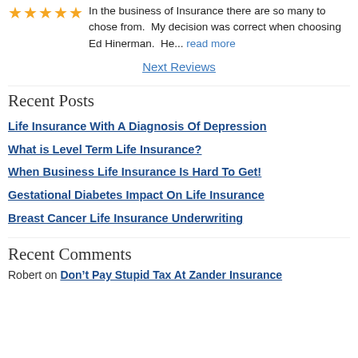★★★★★ In the business of Insurance there are so many to chose from. My decision was correct when choosing Ed Hinerman. He... read more
Next Reviews
Recent Posts
Life Insurance With A Diagnosis Of Depression
What is Level Term Life Insurance?
When Business Life Insurance Is Hard To Get!
Gestational Diabetes Impact On Life Insurance
Breast Cancer Life Insurance Underwriting
Recent Comments
Robert on Don't Pay Stupid Tax At Zander Insurance